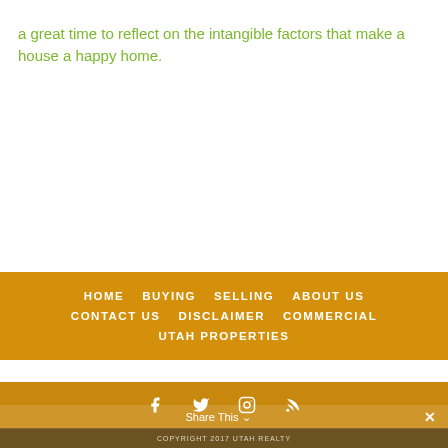a great time to reflect on the intangible factors that make a house a happy home.
HOME   BUYING   SELLING   ABOUT US   CONTACT US   DISCLAIMER   COMMERCIAL   UTAH PROPERTIES
COPYRIGHT 2017 UTAH REALTY